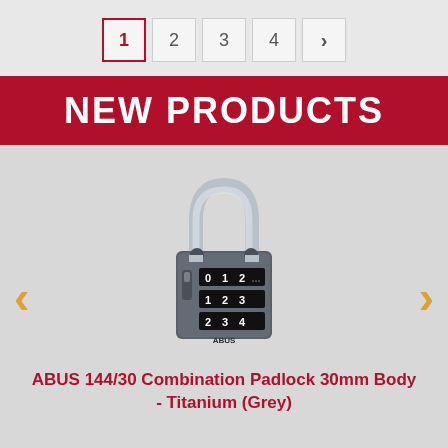1 2 3 4 >
NEW PRODUCTS
[Figure (photo): ABUS 144/30 combination padlock with grey/titanium body and chrome shackle, showing 3-digit combination dials with numbers 012, 123, 234]
ABUS 144/30 Combination Padlock 30mm Body - Titanium (Grey)